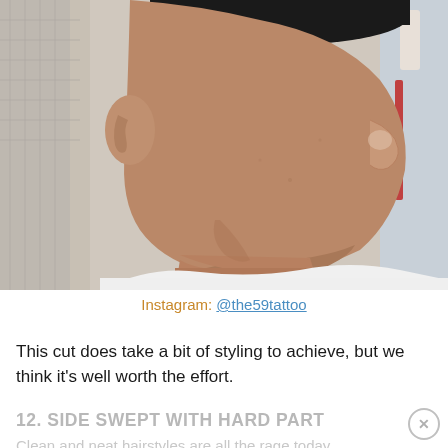[Figure (photo): Close-up side profile photo of a young man with a fade haircut, showing his neck and ear, wearing a white t-shirt, in a barbershop setting.]
Instagram: @the59tattoo
This cut does take a bit of styling to achieve, but we think it's well worth the effort.
12. SIDE SWEPT WITH HARD PART
Clean and neat hairstyles are all the rage today